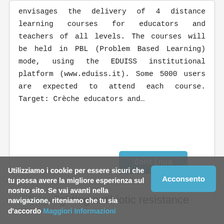envisages the delivery of 4 distance learning courses for educators and teachers of all levels. The courses will be held in PBL (Problem Based Learning) mode, using the EDUISS institutional platform (www.eduiss.it). Some 5000 users are expected to attend each course. Target: Crèche educators and...
Continua
e-Bug: fighting antibiotic resistance
Utilizziamo i cookie per essere sicuri che tu possa avere la migliore esperienza sul nostro sito. Se vai avanti nella navigazione, riteniamo che tu sia d'accordo Maggiori Informazioni